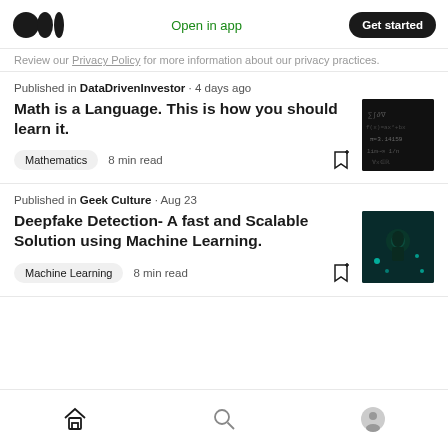Medium logo | Open in app | Get started
Review our Privacy Policy for more information about our privacy practices.
Published in DataDrivenInvestor · 4 days ago
Math is a Language. This is how you should learn it.
Mathematics  8 min read
Published in Geek Culture · Aug 23
Deepfake Detection- A fast and Scalable Solution using Machine Learning.
Machine Learning  8 min read
Home | Search | Profile